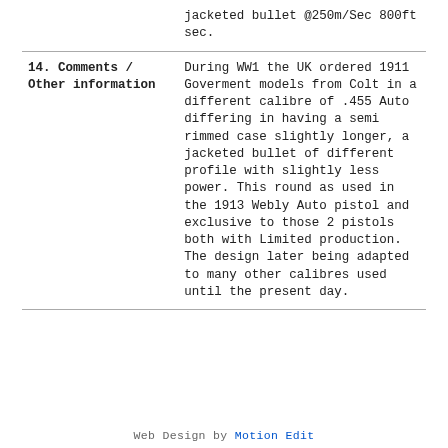|  | jacketed bullet @250m/Sec 800ft sec. |
| 14. Comments / Other information | During WW1 the UK ordered 1911 Goverment models from Colt in a different calibre of .455 Auto differing in having a semi rimmed case slightly longer, a jacketed bullet of different profile with slightly less power. This round as used in the 1913 Webly Auto pistol and exclusive to those 2 pistols both with Limited production. The design later being adapted to many other calibres used until the present day. |
Web Design by Motion Edit